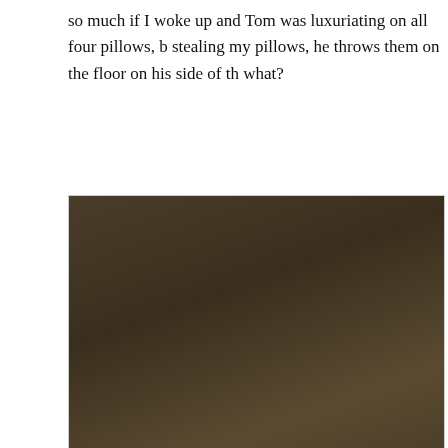so much if I woke up and Tom was luxuriating on all four pillows, b stealing my pillows, he throws them on the floor on his side of the what?
[Figure (photo): Dark brownish image, appears to be a dim room or surface, partially cropped]
Advertisements
[Figure (infographic): DuckDuckGo advertisement banner with orange background. Text: 'Search, browse, and email with more privacy. All in One Free App.' Shows a phone with DuckDuckGo logo.]